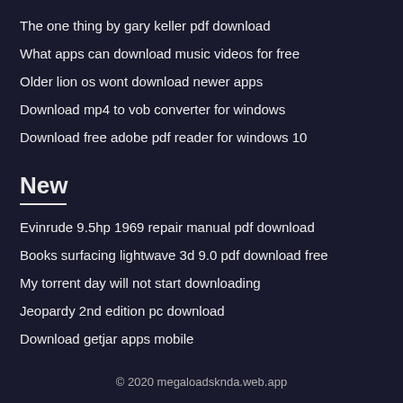The one thing by gary keller pdf download
What apps can download music videos for free
Older lion os wont download newer apps
Download mp4 to vob converter for windows
Download free adobe pdf reader for windows 10
New
Evinrude 9.5hp 1969 repair manual pdf download
Books surfacing lightwave 3d 9.0 pdf download free
My torrent day will not start downloading
Jeopardy 2nd edition pc download
Download getjar apps mobile
© 2020 megaloadsknda.web.app